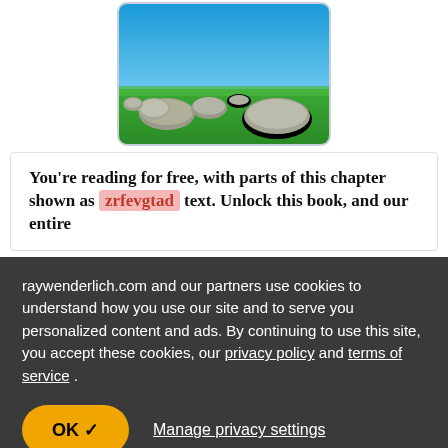[Figure (screenshot): 3D rendered scene showing rocks/boulders on a green grass field under a blue sky]
You're reading for free, with parts of this chapter shown as zrfevgtad text. Unlock this book, and our entire
raywenderlich.com and our partners use cookies to understand how you use our site and to serve you personalized content and ads. By continuing to use this site, you accept these cookies, our privacy policy and terms of service .
OK ✓
Manage privacy settings